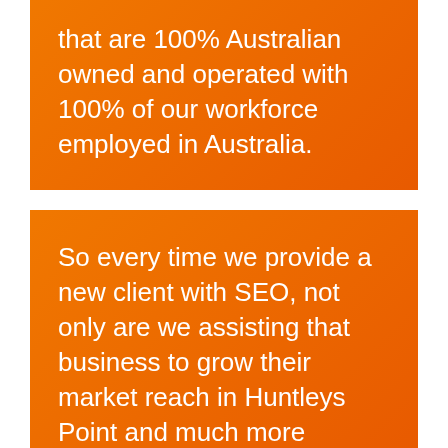that are 100% Australian owned and operated with 100% of our workforce employed in Australia.
So every time we provide a new client with SEO, not only are we assisting that business to grow their market reach in Huntleys Point and much more abroad while increasing revenue, but we have opportunity to employ more local Aussies.